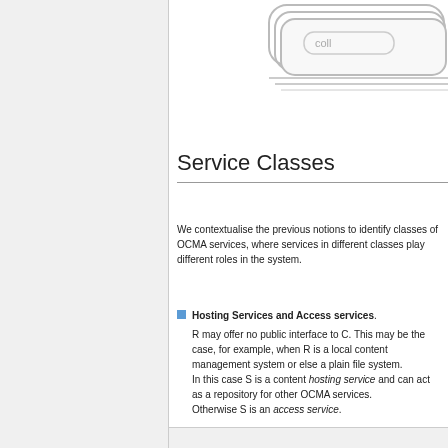[Figure (engineering-diagram): Partial engineering diagram showing rounded rectangular shapes with the text 'coll' visible, representing a system component diagram for OCMA services.]
Service Classes
We contextualise the previous notions to identify classes of OCMA services, where services in different classes play different roles in the system.
Hosting Services and Access services. R may offer no public interface to C. This may be the case, for example, when R is a local content management system or else a plain file system. In this case S is a content hosting service and can act as a repository for other OCMA services. Otherwise S is an access service.